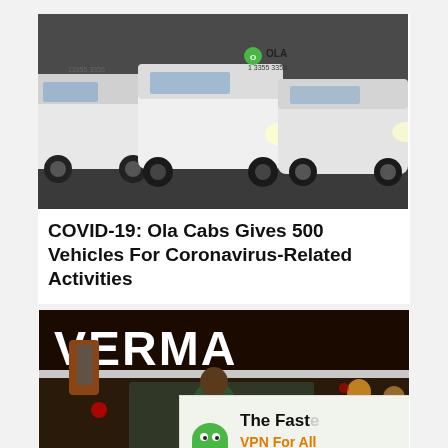[Figure (photo): Row of white Ola cabs parked in a lot at night, showing Ola logo and phone number 1 3355 3355 on the vehicles.]
COVID-19: Ola Cabs Gives 500 Vehicles For Coronavirus-Related Activities
[Figure (photo): Night-time photo of a bus/truck with 'VERMA' written in large white letters on the windshield visor. People visible in the background. A Private Internet Access VPN advertisement overlay is partially visible in the bottom-right corner reading 'The Fast... VPN For All Of Your Device...' with private internetaccess logo.]